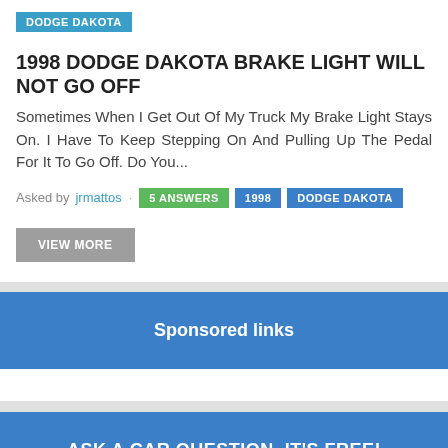DODGE DAKOTA
1998 DODGE DAKOTA BRAKE LIGHT WILL NOT GO OFF
Sometimes When I Get Out Of My Truck My Brake Light Stays On. I Have To Keep Stepping On And Pulling Up The Pedal For It To Go Off. Do You...
Asked by jrmattos · 5 ANSWERS 1998 DODGE DAKOTA
VIEW MORE
Sponsored links
ASK A CAR QUESTION. IT'S FREE!
SPONSORED LINKS